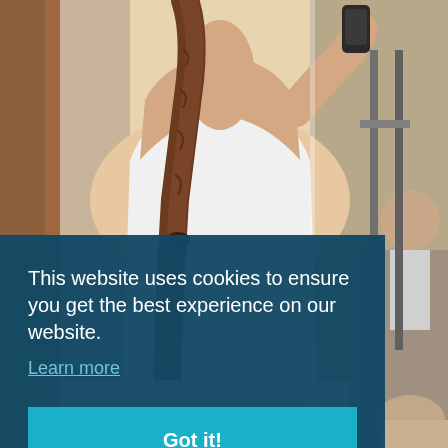[Figure (photo): A woman in a white tank top with a braided ponytail, seen from behind, talking on a phone in a gym setting. Other gym equipment and people are visible in the background.]
This website uses cookies to ensure you get the best experience on our website.
Learn more
Got it!